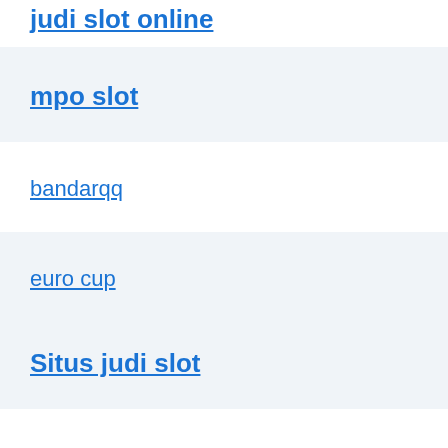judi slot online
mpo slot
bandarqq
euro cup
Situs judi slot